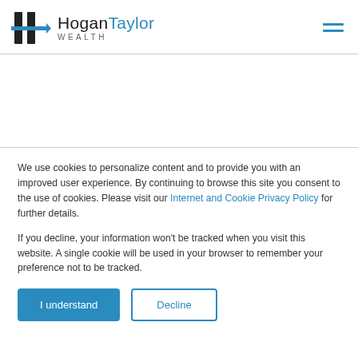[Figure (logo): HoganTaylor Wealth logo with stylized H icon and text]
We use cookies to personalize content and to provide you with an improved user experience. By continuing to browse this site you consent to the use of cookies. Please visit our Internet and Cookie Privacy Policy for further details.
If you decline, your information won't be tracked when you visit this website. A single cookie will be used in your browser to remember your preference not to be tracked.